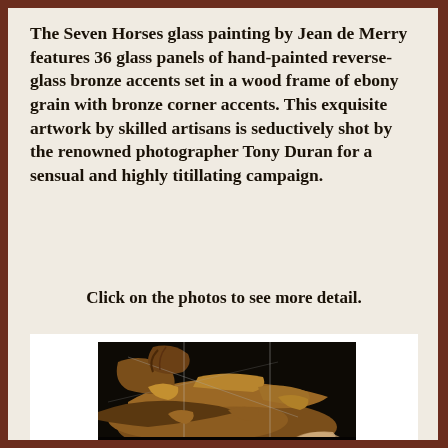The Seven Horses glass painting by Jean de Merry features 36 glass panels of hand-painted reverse-glass bronze accents set in a wood frame of ebony grain with bronze corner accents. This exquisite artwork by skilled artisans is seductively shot by the renowned photographer Tony Duran for a sensual and highly titillating campaign.
Click on the photos to see more detail.
[Figure (photo): A close-up photograph of the Seven Horses glass painting showing horse figures with warm golden-brown tones against a dark background, with visible glass panel seams.]